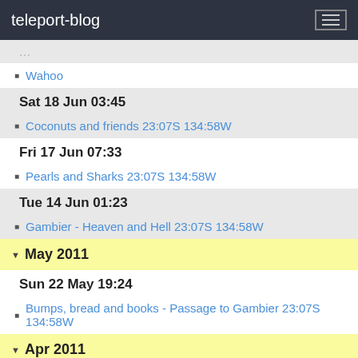teleport-blog
(partial/cut-off entry above Wahoo)
Wahoo
Sat 18 Jun 03:45
Coconuts and friends 23:07S 134:58W
Fri 17 Jun 07:33
Pearls and Sharks 23:07S 134:58W
Tue 14 Jun 01:23
Gambier - Heaven and Hell 23:07S 134:58W
May 2011
Sun 22 May 19:24
Bumps, bread and books - Passage to Gambier 23:07S 134:58W
Apr 2011
Wed 27 Apr 03:31
Half way 14:06.0S 111:23.0W
Sat 23 Apr 14:50